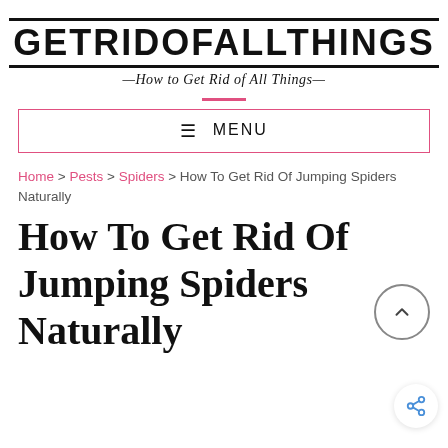GETRIDOFALLTHINGS — How to Get Rid of All Things —
≡ MENU
Home > Pests > Spiders > How To Get Rid Of Jumping Spiders Naturally
How To Get Rid Of Jumping Spiders Naturally